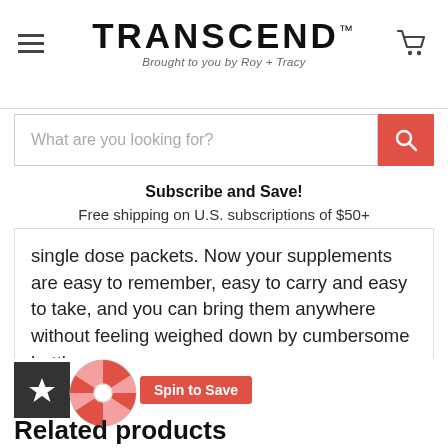TRANSCEND™ — Brought to you by Roy + Tracy
[Figure (screenshot): Search bar with red search button and placeholder text 'What are you looking for?']
Subscribe and Save!
Free shipping on U.S. subscriptions of $50+
single dose packets. Now your supplements are easy to remember, easy to carry and easy to take, and you can bring them anywhere without feeling weighed down by cumbersome bottles.

The streamlined Anti-aging Multipack combines three scientific products in one handy container.
Related products